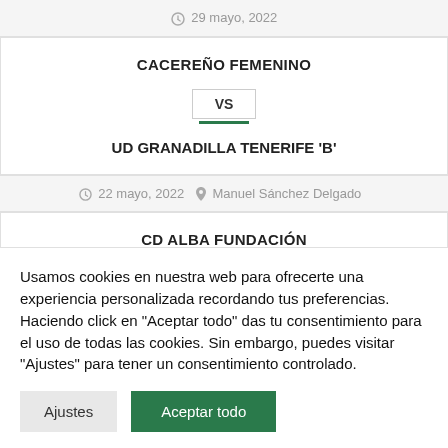29 mayo, 2022
CACEREÑO FEMENINO
VS
UD GRANADILLA TENERIFE 'B'
22 mayo, 2022   Manuel Sánchez Delgado
CD ALBA FUNDACIÓN
VS
Usamos cookies en nuestra web para ofrecerte una experiencia personalizada recordando tus preferencias. Haciendo click en "Aceptar todo" das tu consentimiento para el uso de todas las cookies. Sin embargo, puedes visitar "Ajustes" para tener un consentimiento controlado.
Ajustes
Aceptar todo